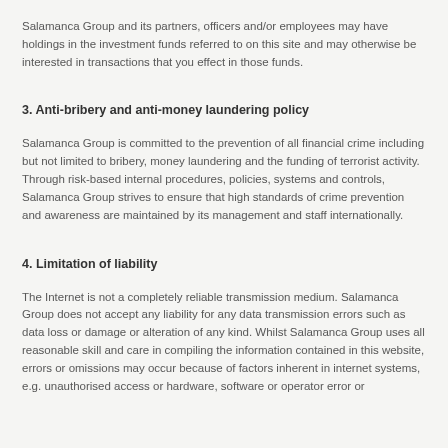Salamanca Group and its partners, officers and/or employees may have holdings in the investment funds referred to on this site and may otherwise be interested in transactions that you effect in those funds.
3. Anti-bribery and anti-money laundering policy
Salamanca Group is committed to the prevention of all financial crime including but not limited to bribery, money laundering and the funding of terrorist activity. Through risk-based internal procedures, policies, systems and controls, Salamanca Group strives to ensure that high standards of crime prevention and awareness are maintained by its management and staff internationally.
4. Limitation of liability
The Internet is not a completely reliable transmission medium. Salamanca Group does not accept any liability for any data transmission errors such as data loss or damage or alteration of any kind. Whilst Salamanca Group uses all reasonable skill and care in compiling the information contained in this website, errors or omissions may occur because of factors inherent in internet systems, e.g. unauthorised access or hardware, software or operator error or